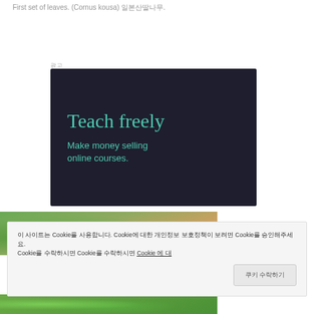First set of leaves. (Cornus kousa) 일본산딸나무.
광고
[Figure (screenshot): Dark navy background advertisement with teal/green text reading 'Teach freely' in large serif font and 'Make money selling online courses.' in smaller sans-serif font below.]
[Figure (photo): Close-up photo of green leaves/herbs on a blurred background, partially covered by cookie consent banner.]
이 사이트는 Cookie를 사용합니다. Cookie에 대한 개인정보 보호정책이 보려면 Cookie를 승인해주세요. Cookie를 수락하시면 Cookie 에 대해
쿠키 수락하기